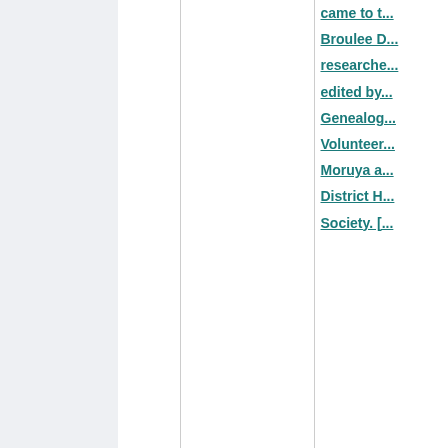|  |  | came to t...
Broulee D...
researche...
edited by...
Genealo...
Volunteer...
Moruya a...
District H...
Society. [... |
| 15 |  | ☐ At ho...
words by...
Matthew ...
; illustrat...
Tony No... |